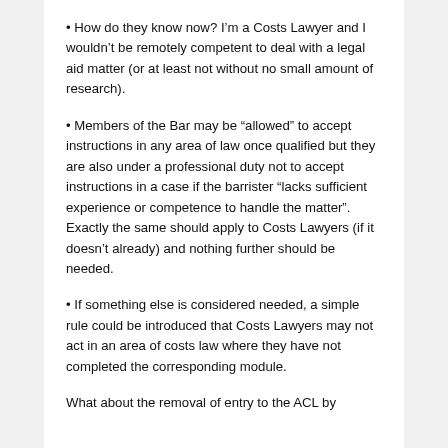How do they know now? I'm a Costs Lawyer and I wouldn't be remotely competent to deal with a legal aid matter (or at least not without no small amount of research).
Members of the Bar may be “allowed” to accept instructions in any area of law once qualified but they are also under a professional duty not to accept instructions in a case if the barrister “lacks sufficient experience or competence to handle the matter”. Exactly the same should apply to Costs Lawyers (if it doesn’t already) and nothing further should be needed.
If something else is considered needed, a simple rule could be introduced that Costs Lawyers may not act in an area of costs law where they have not completed the corresponding module.
What about the removal of entry to the ACL by